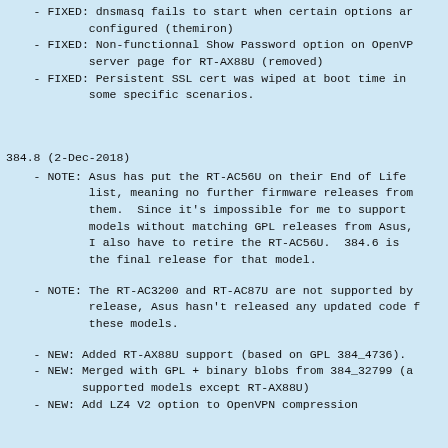- FIXED: dnsmasq fails to start when certain options are configured (themiron)
- FIXED: Non-functionnal Show Password option on OpenVPN server page for RT-AX88U (removed)
- FIXED: Persistent SSL cert was wiped at boot time in some specific scenarios.
384.8 (2-Dec-2018)
- NOTE: Asus has put the RT-AC56U on their End of Life list, meaning no further firmware releases from them.  Since it's impossible for me to support models without matching GPL releases from Asus, I also have to retire the RT-AC56U.  384.6 is the final release for that model.
- NOTE: The RT-AC3200 and RT-AC87U are not supported by release, Asus hasn't released any updated code for these models.
- NEW: Added RT-AX88U support (based on GPL 384_4736).
- NEW: Merged with GPL + binary blobs from 384_32799 (all supported models except RT-AX88U)
- NEW: Add LZ4 V2 option to OpenVPN compression